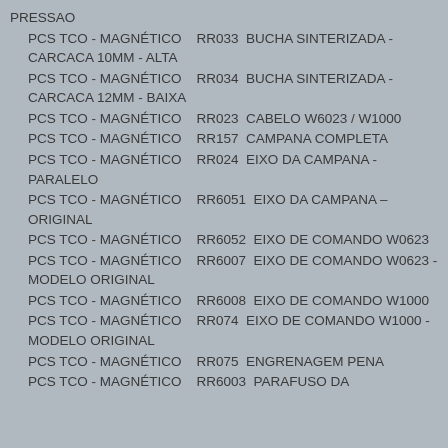PRESSAO
PCS TCO - MAGNÉTICO   RR033  BUCHA SINTERIZADA - CARCACA 10MM - ALTA
PCS TCO - MAGNÉTICO   RR034  BUCHA SINTERIZADA - CARCACA 12MM - BAIXA
PCS TCO - MAGNÉTICO   RR023  CABELO W6023 / W1000
PCS TCO - MAGNÉTICO   RR157  CAMPANA COMPLETA
PCS TCO - MAGNÉTICO   RR024  EIXO DA CAMPANA - PARALELO
PCS TCO - MAGNÉTICO   RR6051  EIXO DA CAMPANA – ORIGINAL
PCS TCO - MAGNÉTICO   RR6052  EIXO DE COMANDO W0623
PCS TCO - MAGNÉTICO   RR6007  EIXO DE COMANDO W0623 - MODELO ORIGINAL
PCS TCO - MAGNÉTICO   RR6008  EIXO DE COMANDO W1000
PCS TCO - MAGNÉTICO   RR074  EIXO DE COMANDO W1000 - MODELO ORIGINAL
PCS TCO - MAGNÉTICO   RR075  ENGRENAGEM PENA
PCS TCO - MAGNÉTICO   RR6003  PARAFUSO DA